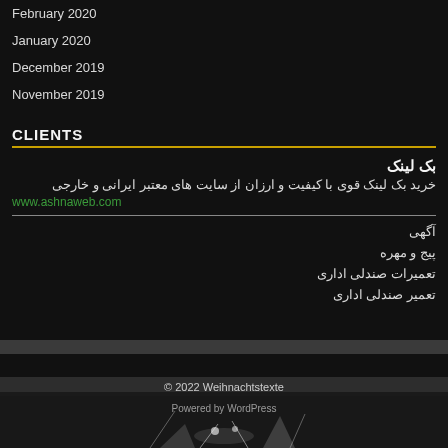February 2020
January 2020
December 2019
November 2019
CLIENTS
بک لینک
خرید بک لینک قوی با کیفیت و ارزان از سایت های معتبر ایرانی و خارجی
www.ashnaweb.com
آگهی
پیج و مهره
تعمیرات صندلی اداری
تعمیر صندلی اداری
© 2022 Weihnachtstexte
Powered by WordPress